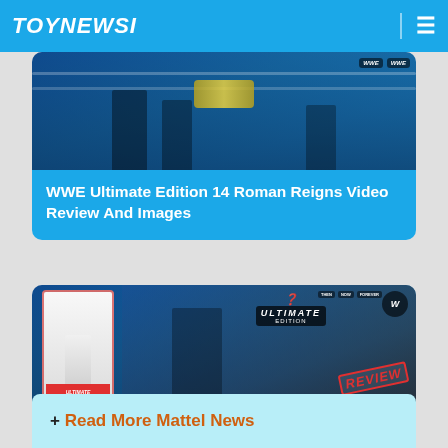TOYNEWSI
[Figure (photo): WWE Ultimate Edition wrestling figures promotional image with ring background]
WWE Ultimate Edition 14 Roman Reigns Video Review And Images
[Figure (photo): WWE Ultimate Edition 14 Jeff Hardy action figure in packaging with arena background and REVIEW stamp]
WWE Ultimate Edition 14 Jeff Hardy Video Review And Images
+ Read More Mattel News